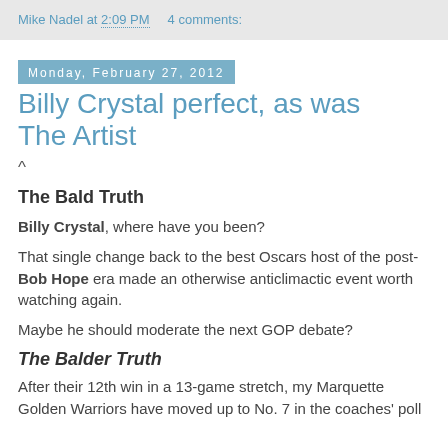Mike Nadel at 2:09 PM    4 comments:
Monday, February 27, 2012
Billy Crystal perfect, as was The Artist
^
The Bald Truth
Billy Crystal, where have you been?
That single change back to the best Oscars host of the post-Bob Hope era made an otherwise anticlimactic event worth watching again.
Maybe he should moderate the next GOP debate?
The Balder Truth
After their 12th win in a 13-game stretch, my Marquette Golden Warriors have moved up to No. 7 in the coaches' poll